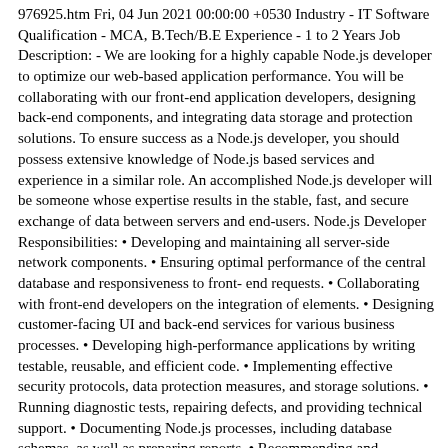976925.htm Fri, 04 Jun 2021 00:00:00 +0530 Industry - IT Software Qualification - MCA, B.Tech/B.E Experience - 1 to 2 Years Job Description: - We are looking for a highly capable Node.js developer to optimize our web-based application performance. You will be collaborating with our front-end application developers, designing back-end components, and integrating data storage and protection solutions. To ensure success as a Node.js developer, you should possess extensive knowledge of Node.js based services and experience in a similar role. An accomplished Node.js developer will be someone whose expertise results in the stable, fast, and secure exchange of data between servers and end-users. Node.js Developer Responsibilities: • Developing and maintaining all server-side network components. • Ensuring optimal performance of the central database and responsiveness to front- end requests. • Collaborating with front-end developers on the integration of elements. • Designing customer-facing UI and back-end services for various business processes. • Developing high-performance applications by writing testable, reusable, and efficient code. • Implementing effective security protocols, data protection measures, and storage solutions. • Running diagnostic tests, repairing defects, and providing technical support. • Documenting Node.js processes, including database schemas, as well as preparing reports. • Recommending and implementing improvements to processes and technologies. • Keeping informed of advancements in the field of Node.js